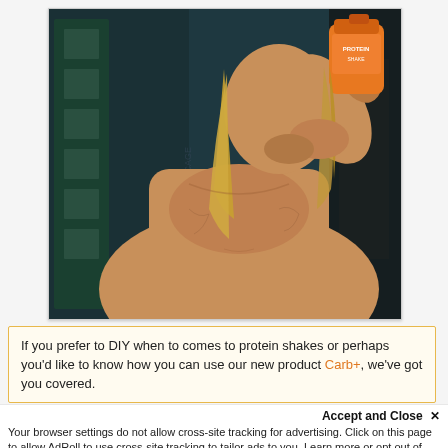[Figure (photo): A muscular man with long blonde hair drinking from an orange protein shaker bottle in a gym setting. He is shirtless and there is gym equipment visible in the background.]
If you prefer to DIY when to comes to protein shakes or perhaps you'd like to know how you can use our new product Carb+, we've got you covered.
Accept and Close ×
Your browser settings do not allow cross-site tracking for advertising. Click on this page to allow AdRoll to use cross-site tracking to tailor ads to you. Learn more or opt out of this AdRoll tracking by clicking here. This message only appears once.